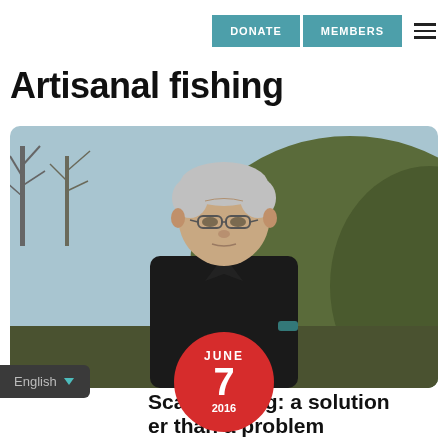DONATE   MEMBERS
Artisanal fishing
[Figure (photo): Older man with grey hair and glasses wearing a dark jacket, standing outdoors with bare winter trees and hedgerow behind him. A red circular date badge reading JUNE 7 2016 overlays the bottom-center of the photo.]
English
Small-scale fishing: a solution rather than a problem